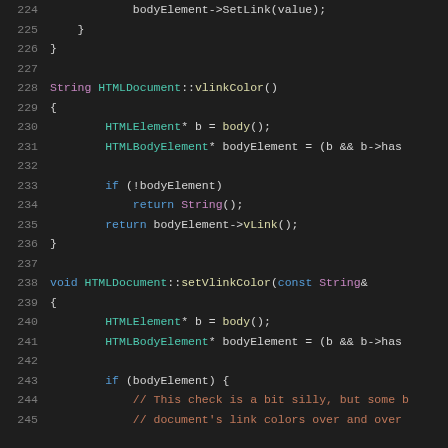[Figure (screenshot): Source code listing in a dark-themed IDE, C++ code for HTMLDocument class methods vlinkColor and setVlinkColor, lines 224-245]